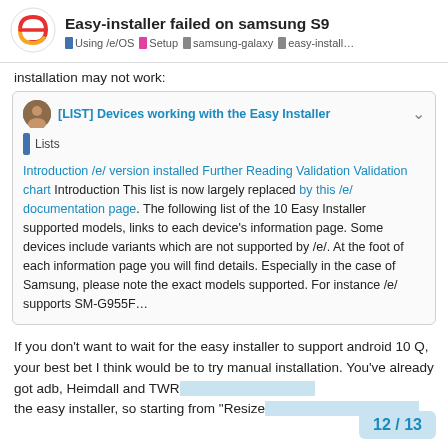Easy-installer failed on samsung S9 | Using /e/OS | Setup | samsung-galaxy | easy-install...
installation may not work:
[Figure (screenshot): Quoted post: [LIST] Devices working with the Easy Installer. Lists tag. Body text: Introduction /e/ version installed Further Reading Validation Validation chart Introduction This list is now largely replaced by this /e/ documentation page. The following list of the 10 Easy Installer supported models, links to each device's information page. Some devices include variants which are not supported by /e/. At the foot of each information page you will find details. Especially in the case of Samsung, please note the exact models supported. For instance /e/ supports SM-G955F…]
If you don't want to wait for the easy installer to support android 10 Q, your best bet I think would be to try manual installation. You've already got adb, Heimdall and TWR the easy installer, so starting from "Resize
12 / 13